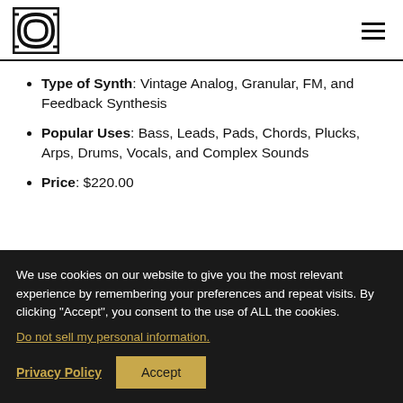[Logo] [Hamburger menu]
Type of Synth: Vintage Analog, Granular, FM, and Feedback Synthesis
Popular Uses: Bass, Leads, Pads, Chords, Plucks, Arps, Drums, Vocals, and Complex Sounds
Price: $220.00
We use cookies on our website to give you the most relevant experience by remembering your preferences and repeat visits. By clicking “Accept”, you consent to the use of ALL the cookies.
Do not sell my personal information.
Privacy Policy  Accept